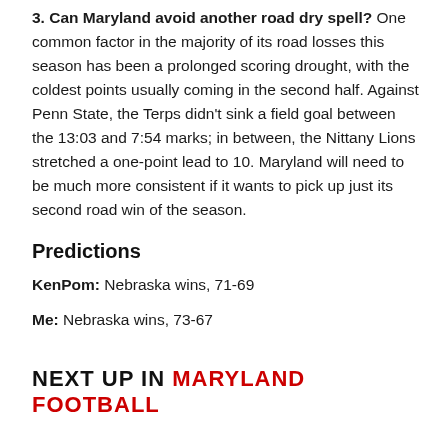3. Can Maryland avoid another road dry spell? One common factor in the majority of its road losses this season has been a prolonged scoring drought, with the coldest points usually coming in the second half. Against Penn State, the Terps didn't sink a field goal between the 13:03 and 7:54 marks; in between, the Nittany Lions stretched a one-point lead to 10. Maryland will need to be much more consistent if it wants to pick up just its second road win of the season.
Predictions
KenPom: Nebraska wins, 71-69
Me: Nebraska wins, 73-67
NEXT UP IN MARYLAND FOOTBALL